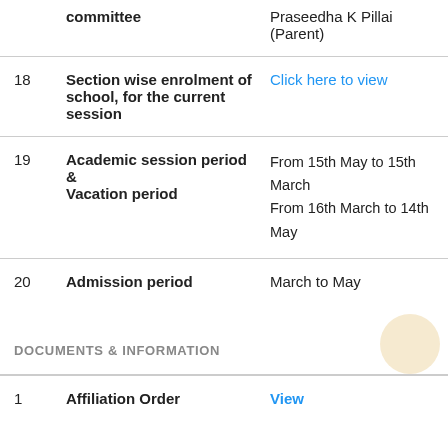| # | Item | Details |
| --- | --- | --- |
|  | committee | Praseedha K Pillai (Parent) |
| 18 | Section wise enrolment of school, for the current session | Click here to view |
| 19 | Academic session period & Vacation period | From 15th May to 15th March
From 16th March to 14th May |
| 20 | Admission period | March to May |
DOCUMENTS & INFORMATION
| # | Item | Details |
| --- | --- | --- |
| 1 | Affiliation Order | View |